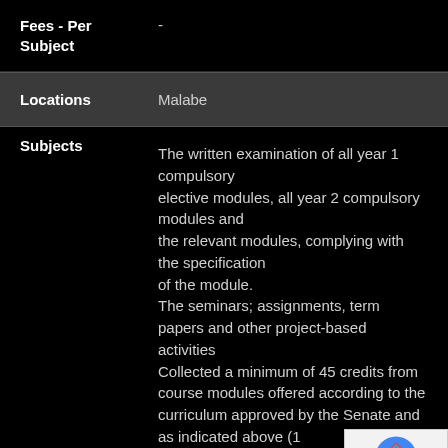| Field | Value |
| --- | --- |
| Fees - Per Subject | - |
| Locations | Malabe |
| Subjects | The written examination of all year 1 compulsory elective modules, all year 2 compulsory modules and the relevant modules, complying with the specification of the module. The seminars; assignments, term papers and other project-based activities Collected a minimum of 45 credits from course modules offered according to the curriculum approved by the Senate and as indicated above (1... Successfully completed the resea... projects, carryin... |